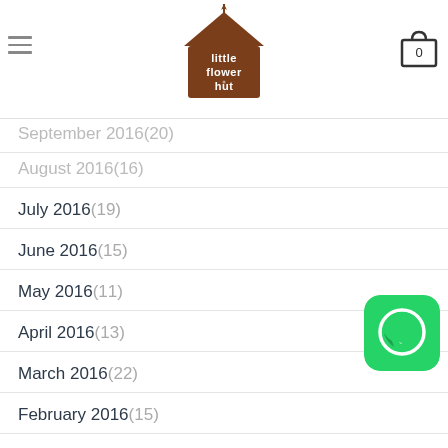little flower hut — navigation header with logo and cart
September 2016 (20)
August 2016 (16)
July 2016 (19)
June 2016 (15)
May 2016 (11)
April 2016 (13)
March 2016 (22)
February 2016 (15)
January 2016 (27)
December 2015 (6)
November 2015 (9)
October 2015 (15)